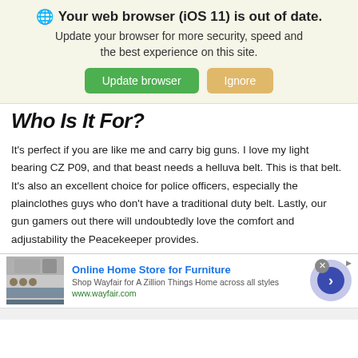[Figure (screenshot): Browser update notification banner with globe icon, bold title 'Your web browser (iOS 11) is out of date.', subtitle text, and two buttons: 'Update browser' (green) and 'Ignore' (tan/yellow).]
Who Is It For?
It's perfect if you are like me and carry big guns. I love my light bearing CZ P09, and that beast needs a helluva belt. This is that belt. It's also an excellent choice for police officers, especially the plainclothes guys who don't have a traditional duty belt. Lastly, our gun gamers out there will undoubtedly love the comfort and adjustability the Peacekeeper provides.
[Figure (screenshot): Advertisement banner for Wayfair - Online Home Store for Furniture, showing furniture image on left, ad text in middle, and circular arrow button on right. Close button (x) in top right.]